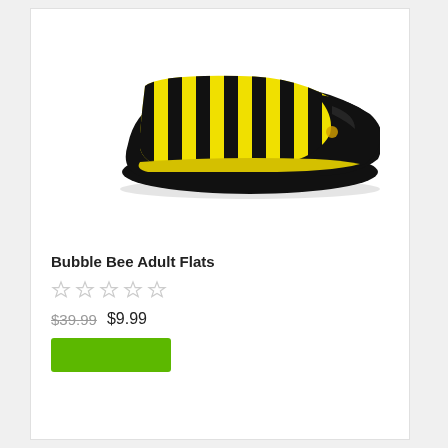[Figure (photo): A bumble bee themed flat shoe with black and yellow vertical stripes on the upper and a shiny black toe cap, photographed on a white background.]
Bubble Bee Adult Flats
☆ ☆ ☆ ☆ ☆
$39.99  $9.99